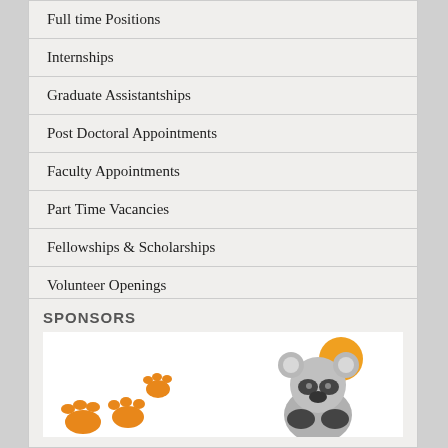Full time Positions
Internships
Graduate Assistantships
Post Doctoral Appointments
Faculty Appointments
Part Time Vacancies
Fellowships & Scholarships
Volunteer Openings
Training
SPONSORS
[Figure (illustration): Sponsor logo area showing orange paw prints on the left and a koala bear illustration with an orange/yellow circle behind it on the right, on a white background.]